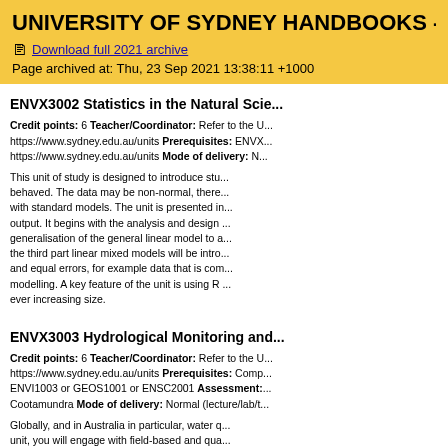UNIVERSITY OF SYDNEY HANDBOOKS - 2021
Download full 2021 archive
Page archived at: Thu, 23 Sep 2021 13:38:11 +1000
ENVX3002 Statistics in the Natural Scie...
Credit points: 6 Teacher/Coordinator: Refer to the U... https://www.sydney.edu.au/units Prerequisites: ENVX... https://www.sydney.edu.au/units Mode of delivery: N...
This unit of study is designed to introduce stu... behaved. The data may be non-normal, there... with standard models. The unit is presented in... output. It begins with the analysis and design ... generalisation of the general linear model to a... the third part linear mixed models will be intro... and equal errors, for example data that is com... modelling. A key feature of the unit is using R... ever increasing size.
ENVX3003 Hydrological Monitoring and...
Credit points: 6 Teacher/Coordinator: Refer to the U... https://www.sydney.edu.au/units Prerequisites: Comp... ENVI1003 or GEOS1001 or ENSC2001 Assessment:... Cootamundra Mode of delivery: Normal (lecture/lab/t...
Globally, and in Australia in particular, water q... unit, you will engage with field-based and qua... NSW to collect and engage with fi...